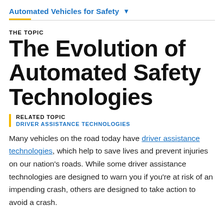Automated Vehicles for Safety
THE TOPIC
The Evolution of Automated Safety Technologies
RELATED TOPIC
DRIVER ASSISTANCE TECHNOLOGIES
Many vehicles on the road today have driver assistance technologies, which help to save lives and prevent injuries on our nation's roads. While some driver assistance technologies are designed to warn you if you're at risk of an impending crash, others are designed to take action to avoid a crash.